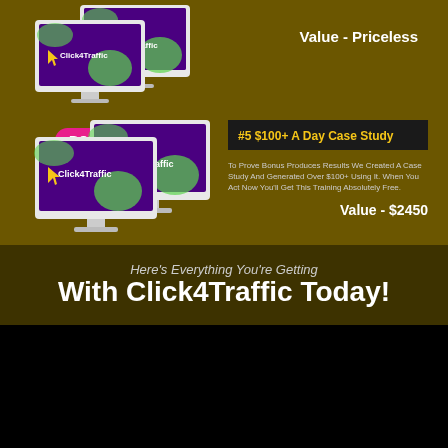[Figure (illustration): Two computer monitors showing Click4Traffic software on dark olive/brown background]
Value - Priceless
BONUS #5
[Figure (illustration): Two computer monitors showing Click4Traffic software on dark olive/brown background]
#5 $100+ A Day Case Study
To Prove Bonus Produces Results We Created A Case Study And Generated Over $100+ Using It. When You Act Now You'll Get This Training Absolutely Free.
Value - $2450
Here's Everything You're Getting With Click4Traffic Today!
[Figure (illustration): Three Click4Traffic product mockups including two computer monitors and a box on black background]